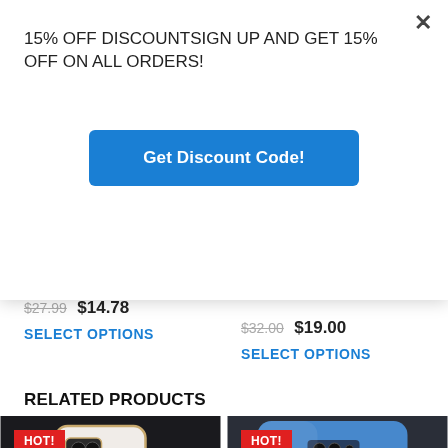15% OFF DISCOUNTSIGN UP AND GET 15% OFF ON ALL ORDERS!
Get Discount Code!
$27.99  $14.78
SELECT OPTIONS
$32.00  $19.00
SELECT OPTIONS
RELATED PRODUCTS
[Figure (photo): Phone case with pearl bracelet chain, white/gold, HOT! badge]
[Figure (photo): Blue smartphone back, HOT! badge]